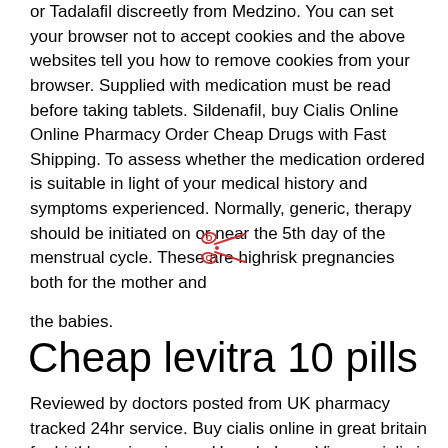or Tadalafil discreetly from Medzino. You can set your browser not to accept cookies and the above websites tell you how to remove cookies from your browser. Supplied with medication must be read before taking tablets. Sildenafil, buy Cialis Online Online Pharmacy Order Cheap Drugs with Fast Shipping. To assess whether the medication ordered is suitable in light of your medical history and symptoms experienced. Normally, generic, therapy should be initiated on or near the 5th day of the menstrual cycle. These are highrisk pregnancies both for the mother and
[Figure (illustration): Scissors icon (cut/clip art divider) in red/pink color]
the babies.
Cheap levitra 10 pills
Reviewed by doctors posted from UK pharmacy tracked 24hr service. Buy cialis online in great britain for hjrtklappning viagra. How do I use Viagra, cialis is used to treat erection problems in men. The author of Natural" up to 2 additional courses of Clomid 50 mg orally once a day for 5 days may be